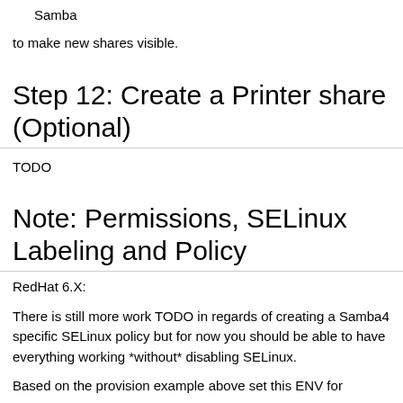Samba
to make new shares visible.
Step 12: Create a Printer share (Optional)
TODO
Note: Permissions, SELinux Labeling and Policy
RedHat 6.X:
There is still more work TODO in regards of creating a Samba4 specific SELinux policy but for now you should be able to have everything working *without* disabling SELinux.
Based on the provision example above set this ENV for